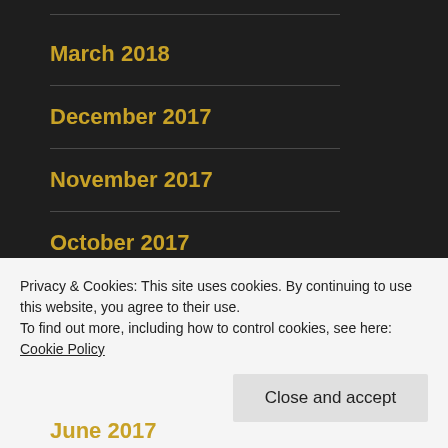March 2018
December 2017
November 2017
October 2017
September 2017
Privacy & Cookies: This site uses cookies. By continuing to use this website, you agree to their use.
To find out more, including how to control cookies, see here: Cookie Policy
June 2017